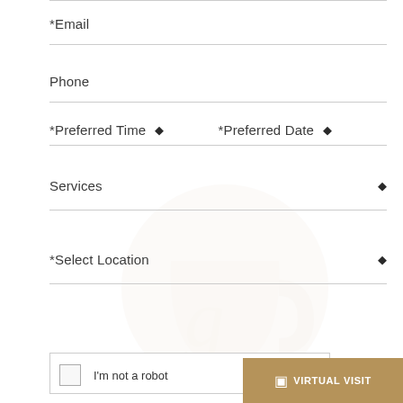*Email
Phone
*Preferred Time
*Preferred Date
Services
*Select Location
I'm not a robot
VIRTUAL VISIT